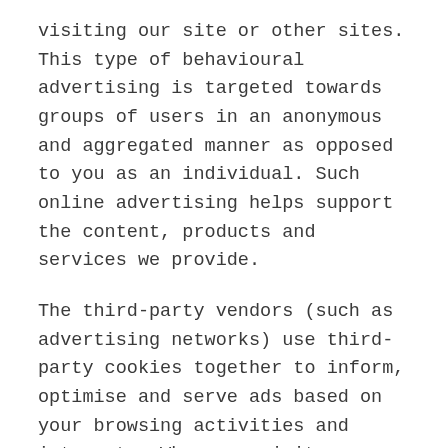visiting our site or other sites. This type of behavioural advertising is targeted towards groups of users in an anonymous and aggregated manner as opposed to you as an individual. Such online advertising helps support the content, products and services we provide.
The third-party vendors (such as advertising networks) use third-party cookies together to inform, optimise and serve ads based on your browsing activities and interests. When you visit our Site, your browser redirects to the third party vendor and information is transmitted from your browser to this third party vendor.
Any information transmitted to advertisers and advertising networks in this manner is non-